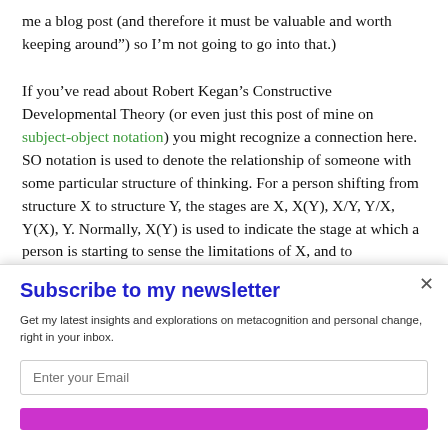me a blog post (and therefore it must be valuable and worth keeping around”) so I’m not going to go into that.)

If you’ve read about Robert Kegan’s Constructive Developmental Theory (or even just this post of mine on subject-object notation) you might recognize a connection here. SO notation is used to denote the relationship of someone with some particular structure of thinking. For a person shifting from structure X to structure Y, the stages are X, X(Y), X/Y, Y/X, Y(X), Y. Normally, X(Y) is used to indicate the stage at which a person is starting to sense the limitations of X, and to
Subscribe to my newsletter
Get my latest insights and explorations on metacognition and personal change, right in your inbox.